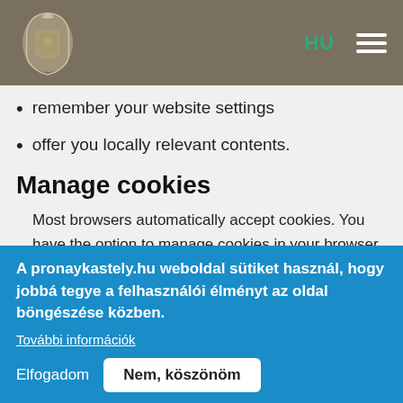HU [navigation bar with logo and hamburger menu]
keep you logged in
remember your website settings
offer you locally relevant contents.
Manage cookies
Most browsers automatically accept cookies. You have the option to manage cookies in your browser settings: you can disable or delete them.
If you would like to read more about cookies' setting, you can find more information in the help and
A pronaykastely.hu weboldal sütiket használ, hogy jobbá tegye a felhasználói élményt az oldal böngészése közben.
További információk
Elfogadom   Nem, köszönöm